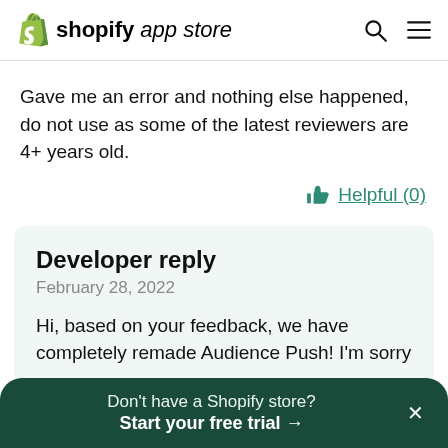shopify app store
Gave me an error and nothing else happened, do not use as some of the latest reviewers are 4+ years old.
Helpful (0)
Developer reply
February 28, 2022
Hi, based on your feedback, we have completely remade Audience Push! I'm sorry
Don't have a Shopify store? Start your free trial →